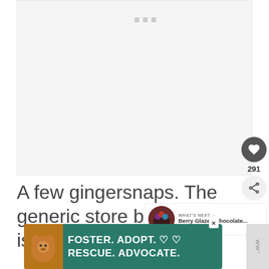[Figure (photo): Large image area, mostly blank/white with three small gray rectangle icons at top center]
A few gingersnaps. The generic store brand kind is fine.
[Figure (photo): What's Next panel showing 'Berry Glazed Chocolate...' with a circular thumbnail of a chocolate dessert topped with berries]
[Figure (photo): Advertisement banner: FOSTER. ADOPT. RESCUE. ADVOCATE. with a dog image on teal background]